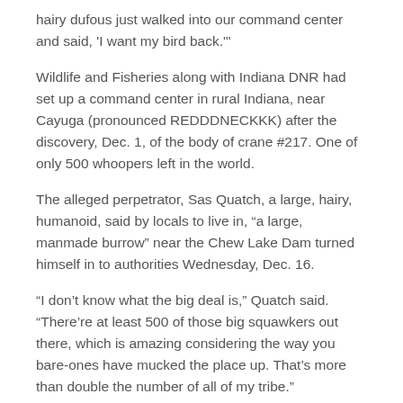hairy dufous just walked into our command center and said, 'I want my bird back.'"
Wildlife and Fisheries along with Indiana DNR had set up a command center in rural Indiana, near Cayuga (pronounced REDDDNECKKK) after the discovery, Dec. 1, of the body of crane #217. One of only 500 whoopers left in the world.
The alleged perpetrator, Sas Quatch, a large, hairy, humanoid, said by locals to live in, “a large, manmade burrow” near the Chew Lake Dam turned himself in to authorities Wednesday, Dec. 16.
“I don’t know what the big deal is,” Quatch said. “There’re at least 500 of those big squawkers out there, which is amazing considering the way you bare-ones have mucked the place up. That’s more than double the number of all of my tribe.”
When officer Doright asked Quatch why he left the